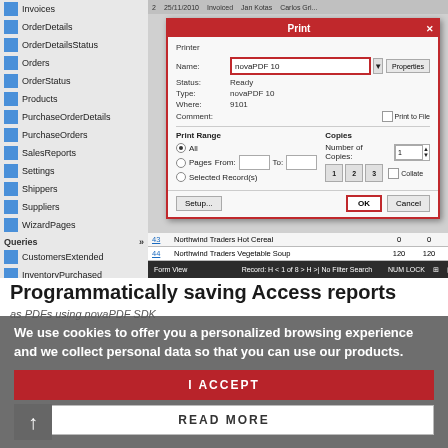[Figure (screenshot): Screenshot of Microsoft Access with a Print dialog box open, showing printer set to novaPDF 10, with OK button highlighted by a red border. Behind the dialog is an Access database table view with records including Northwind Traders Hot Cereal and Northwind Traders Vegetable Soup.]
Programmatically saving Access reports as PDFs using novaPDF SDK
We use cookies to offer you a personalized browsing experience and we collect personal data so that you can use our products.
I ACCEPT
READ MORE